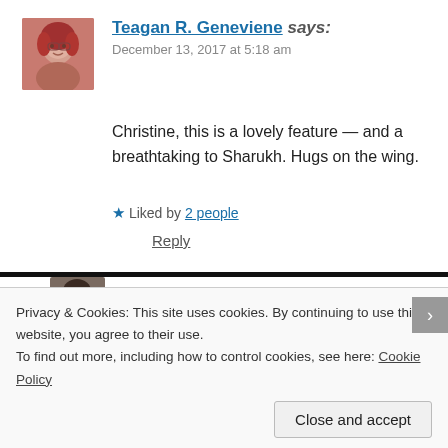[Figure (photo): Avatar photo of Teagan R. Geneviene, a woman with red hair]
Teagan R. Geneviene says:
December 13, 2017 at 5:18 am
Christine, this is a lovely feature — and a breathtaking to Sharukh. Hugs on the wing.
★ Liked by 2 people
Reply
[Figure (photo): Avatar photo of C.E.Robinson, a woman with dark hair]
C.E.Robinson says:
Privacy & Cookies: This site uses cookies. By continuing to use this website, you agree to their use.
To find out more, including how to control cookies, see here: Cookie Policy
Close and accept